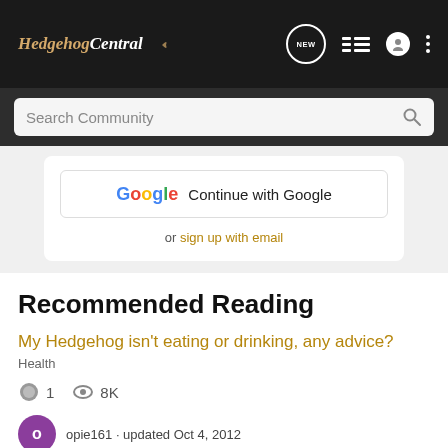Hedgehog Central
Search Community
[Figure (screenshot): Continue with Google button and sign up with email option]
Recommended Reading
My Hedgehog isn't eating or drinking, any advice?
Health
1  8K
opie161 · updated Oct 4, 2012